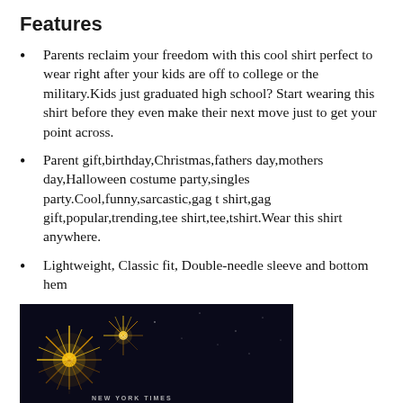Features
Parents reclaim your freedom with this cool shirt perfect to wear right after your kids are off to college or the military.Kids just graduated high school? Start wearing this shirt before they even make their next move just to get your point across.
Parent gift,birthday,Christmas,fathers day,mothers day,Halloween costume party,singles party.Cool,funny,sarcastic,gag t shirt,gag gift,popular,trending,tee shirt,tee,tshirt.Wear this shirt anywhere.
Lightweight, Classic fit, Double-needle sleeve and bottom hem
[Figure (photo): Fireworks photo with text 'NEW YORK TIMES' visible at the bottom, gold fireworks on dark night sky background]